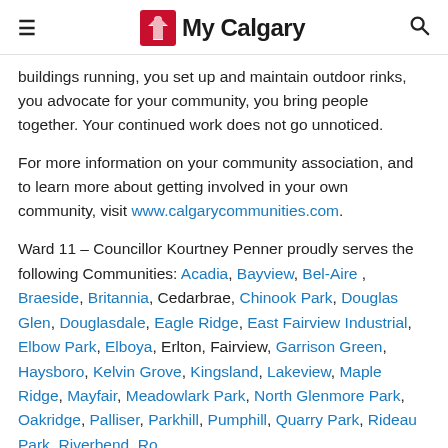My Calgary
buildings running, you set up and maintain outdoor rinks, you advocate for your community, you bring people together. Your continued work does not go unnoticed.
For more information on your community association, and to learn more about getting involved in your own community, visit www.calgarycommunities.com.
Ward 11 – Councillor Kourtney Penner proudly serves the following Communities: Acadia, Bayview, Bel-Aire , Braeside, Britannia, Cedarbrae, Chinook Park, Douglas Glen, Douglasdale, Eagle Ridge, East Fairview Industrial, Elbow Park, Elboya, Erlton, Fairview, Garrison Green, Haysboro, Kelvin Grove, Kingsland, Lakeview, Maple Ridge, Mayfair, Meadowlark Park, North Glenmore Park, Oakridge, Palliser, Parkhill, Pumphill, Quarry Park, Rideau Park, Riverbend, Roxboro, Southwood, Victoria Park, Willow Park, Windsor…